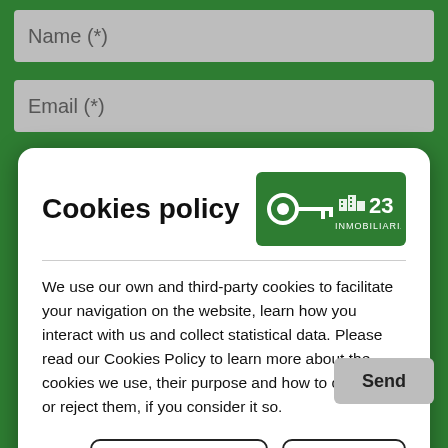Name (*)
Email (*)
Cookies policy
[Figure (logo): Green rounded rectangle logo with a white key icon and building icon, text '23 INMOBILIARIA' in white]
We use our own and third-party cookies to facilitate your navigation on the website, learn how you interact with us and collect statistical data. Please read our Cookies Policy to learn more about the cookies we use, their purpose and how to configure or reject them, if you consider it so.
Manage Cookies
Accept all
Send